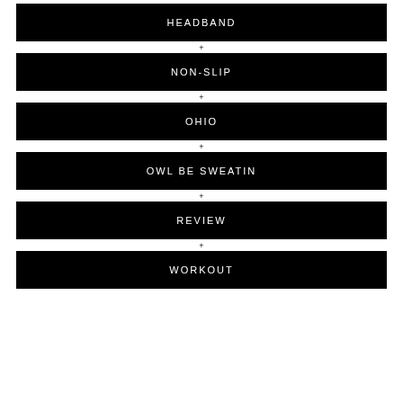HEADBAND
+
NON-SLIP
+
OHIO
+
OWL BE SWEATIN
+
REVIEW
+
WORKOUT